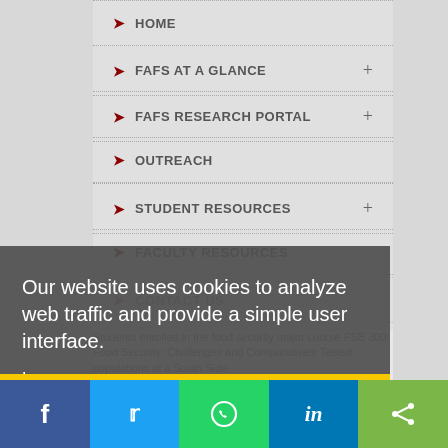HOME
FAFS AT A GLANCE +
FAFS RESEARCH PORTAL +
OUTREACH
STUDENT RESOURCES +
FACULTY RESOURCES
CONTACT US
Our website uses cookies to analyze web traffic and provide a simple user interface.
Learn more
Students enrolled in the food security major course FSB 300: Food Security: Challenges and Comparatively Tested populations at a South Side
Got it!